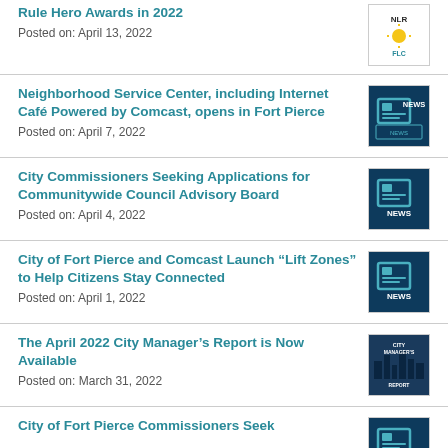Rule Hero Awards in 2022
Posted on: April 13, 2022
Neighborhood Service Center, including Internet Café Powered by Comcast, opens in Fort Pierce
Posted on: April 7, 2022
City Commissioners Seeking Applications for Communitywide Council Advisory Board
Posted on: April 4, 2022
City of Fort Pierce and Comcast Launch “Lift Zones” to Help Citizens Stay Connected
Posted on: April 1, 2022
The April 2022 City Manager’s Report is Now Available
Posted on: March 31, 2022
City of Fort Pierce Commissioners Seek